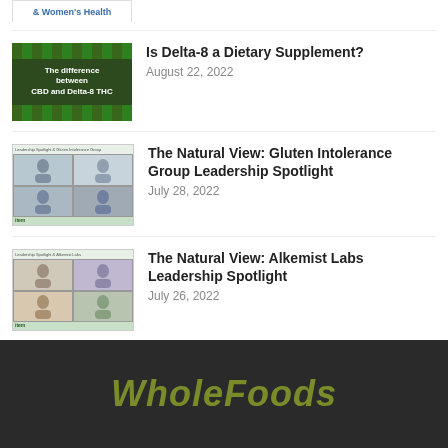[Figure (screenshot): Cropped thumbnail showing blue text '& Women's Health' on white background]
[Figure (photo): Dark green background with cannabis leaves border and white text 'The difference between CBD and Delta-8 THC']
Is Delta-8 a Dietary Supplement?
August 22, 2022
[Figure (screenshot): Video call screenshot showing four participants in a grid layout with green header bar]
The Natural View: Gluten Intolerance Group Leadership Spotlight
July 28, 2022
[Figure (screenshot): Video call screenshot showing four participants in a grid layout with green header bar]
The Natural View: Alkemist Labs Leadership Spotlight
July 26, 2022
WholeFoods